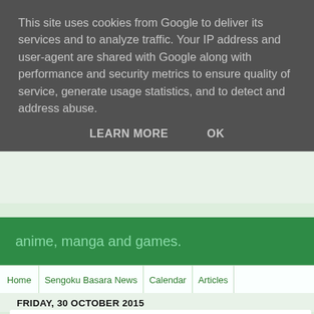This site uses cookies from Google to deliver its services and to analyze traffic. Your IP address and user-agent are shared with Google along with performance and security metrics to ensure quality of service, generate usage statistics, and to detect and address abuse.
LEARN MORE   OK
anime, manga and games.
Home  Sengoku Basara News  Calendar  Articles
FRIDAY, 30 OCTOBER 2015
News roundup: Historical events, Sengoku Basara f
I was holding out for the third round of guests for Sengoku Bas... Years, Ten Shades~, which KobaP has been teasing will be an... morning now I've finally gone ahead and written up this post, es... for an update later too.